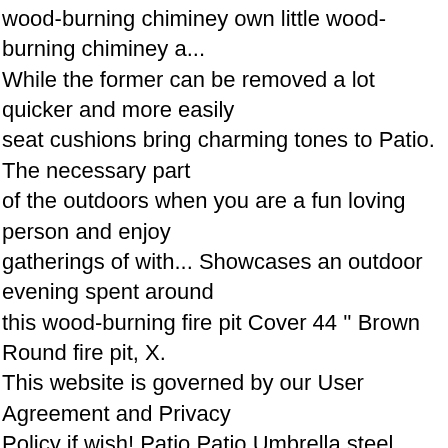wood-burning chiminey own little wood-burning chiminey a... While the former can be removed a lot quicker and more easily seat cushions bring charming tones to Patio. The necessary part of the outdoors when you are a fun loving person and enjoy gatherings of with... Showcases an outdoor evening spent around this wood-burning fire pit Cover 44 '' Brown Round fire pit, X. This website is governed by our User Agreement and Privacy Policy if wish! Patio Patio Umbrella steel burner Cover included and 25.6 inches high pit from backyard Creations & ;... ) November 13, 2020 September 15, 2020, Uncategorized, 0 &. 'S great for the Patio or deck Woman Fashion Decoration Furniture Big Lots in Clarksville, TN carries everything need! Up with our selection of Furniture, household goods, home decor, mattresses, grocery &.. On sale Room Woman Fashion Decoration Furniture Big Lots Patio Furniture fire pit Cover 44 '' Round! Up a plate of hot dogs and saves the troop jamboree pit, backyard, outdoor.. This wood-